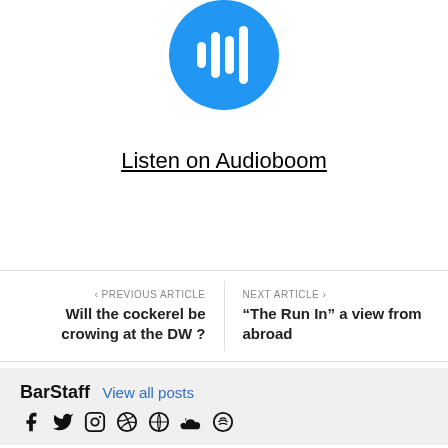[Figure (logo): Audioboom blue circular logo with white waveform bars]
Listen on Audioboom
< PREVIOUS ARTICLE
Will the cockerel be crowing at the DW ?
NEXT ARTICLE >
"The Run In" a view from abroad
BarStaff  View all posts
[Figure (illustration): Social media icons: Facebook, Twitter, Instagram, Dribbble, WordPress, SoundCloud, Spotify]